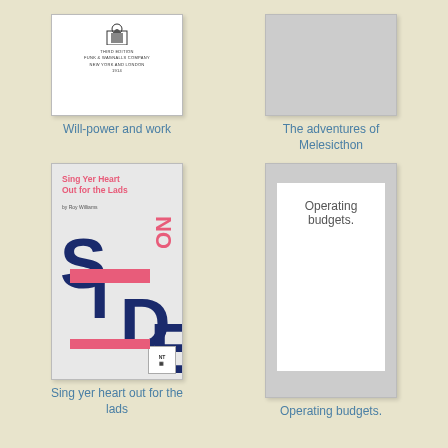[Figure (illustration): Book cover thumbnail for 'Will-power and work', white cover with small emblem and text, third edition, Funk & Wagnalls Company, New York and London]
Will-power and work
[Figure (illustration): Placeholder gray book cover for 'The adventures of Melesicthon']
The adventures of Melesicthon
[Figure (illustration): Book cover for 'Sing Yer Heart Out for the Lads' by Roy Williams, featuring large vertical letters S-I-D-E in dark blue, pink text and bars, ON in pink vertical text, NT logo at bottom right]
Sing yer heart out for the lads
[Figure (illustration): Placeholder gray book cover with inner white panel showing text 'Operating budgets.']
Operating budgets.